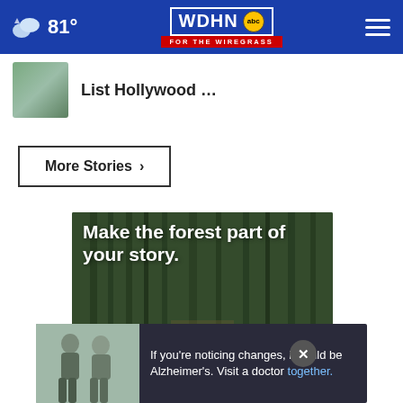81° WDHN abc FOR THE WIREGRASS
List Hollywood …
More Stories ›
[Figure (photo): Forest advertisement image with text 'Make the forest part of your story.' and colorful bird/flower decorations at bottom]
[Figure (photo): Alzheimer's awareness ad: two people and text 'If you're noticing changes, it could be Alzheimer's. Visit a doctor together.']